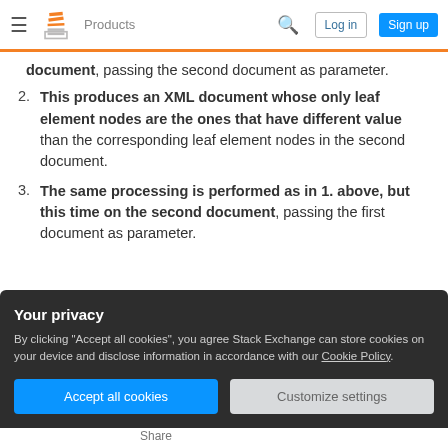Stack Exchange — Products | Log in | Sign up
document, passing the second document as parameter.
This produces an XML document whose only leaf element nodes are the ones that have different value than the corresponding leaf element nodes in the second document.
The same processing is performed as in 1. above, but this time on the second document, passing the first document as parameter.
Your privacy
By clicking "Accept all cookies", you agree Stack Exchange can store cookies on your device and disclose information in accordance with our Cookie Policy.
Accept all cookies   Customize settings
Share